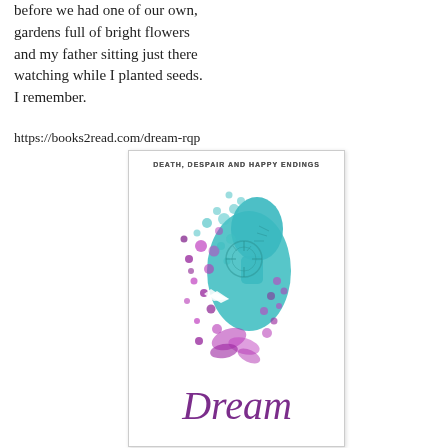before we had one of our own, gardens full of bright flowers and my father sitting just there watching while I planted seeds. I remember.
https://books2read.com/dream-rqp
[Figure (illustration): Book cover for 'Dream' from the anthology 'Death, Despair and Happy Endings'. Features an artistic illustration of a woman's profile silhouette rendered in teal/turquoise and purple tones with floral and mechanical elements dispersed around the figure. The word 'Dream' is written in large purple italic script at the bottom.]